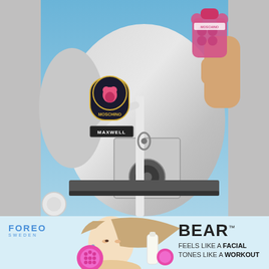[Figure (photo): Moschino Toy Boy fragrance advertisement showing a person in a silver/metallic astronaut suit holding up a pink bear-shaped perfume bottle (Moschino Toy Boy). The figure has a MOSCHINO patch with a pink bear on the left chest and a name tag reading MAXWELL. The background is a light blue sky. The suit is detailed with equipment panels, black straps, and mechanical components.]
[Figure (photo): FOREO BEAR advertisement banner. Left side shows a woman with wind-blown hair using a pink circular facial toning device. Center shows the pink BEAR device and a skincare product. Right side has text: BEAR with trademark symbol, FEELS LIKE A FACIAL / TONES LIKE A WORKOUT. FOREO SWEDEN logo appears at top left of banner.]